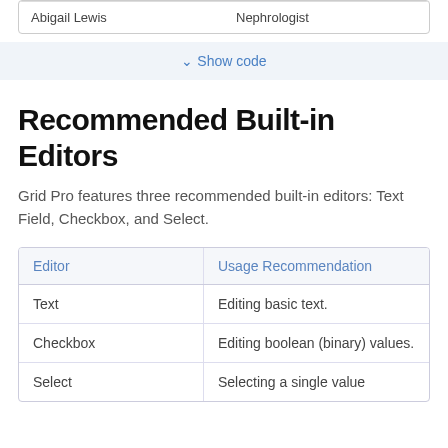| Abigail Lewis | Nephrologist |
Show code
Recommended Built-in Editors
Grid Pro features three recommended built-in editors: Text Field, Checkbox, and Select.
| Editor | Usage Recommendation |
| --- | --- |
| Text | Editing basic text. |
| Checkbox | Editing boolean (binary) values. |
| Select | Selecting a single value |